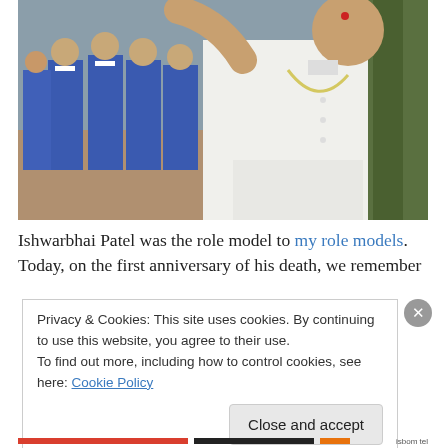[Figure (photo): A man in white kurta with arm raised, standing in front of schoolgirls in blue uniforms]
Ishwarbhai Patel was the role model to my role models. Today, on the first anniversary of his death, we remember
Privacy & Cookies: This site uses cookies. By continuing to use this website, you agree to their use.
To find out more, including how to control cookies, see here: Cookie Policy
Close and accept